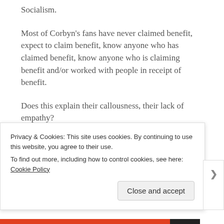Socialism.
Most of Corbyn's fans have never claimed benefit, expect to claim benefit, know anyone who has claimed benefit, know anyone who is claiming benefit and/or worked with people in receipt of benefit.
Does this explain their callousness, their lack of empathy?
It certainly suggests that saying they had seen I, Daniel Blake was more of a chance to
Privacy & Cookies: This site uses cookies. By continuing to use this website, you agree to their use.
To find out more, including how to control cookies, see here: Cookie Policy
Close and accept